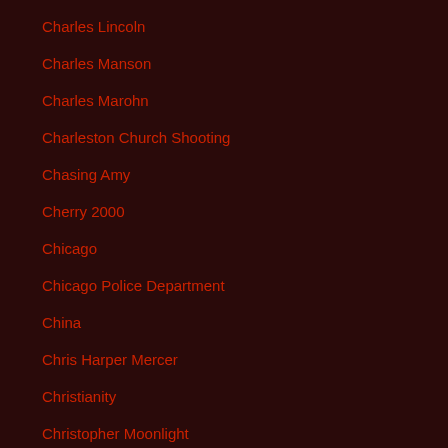Charles Lincoln
Charles Manson
Charles Marohn
Charleston Church Shooting
Chasing Amy
Cherry 2000
Chicago
Chicago Police Department
China
Chris Harper Mercer
Christianity
Christopher Moonlight
Christopher Walken
Chuck Palahniuk
Cicero